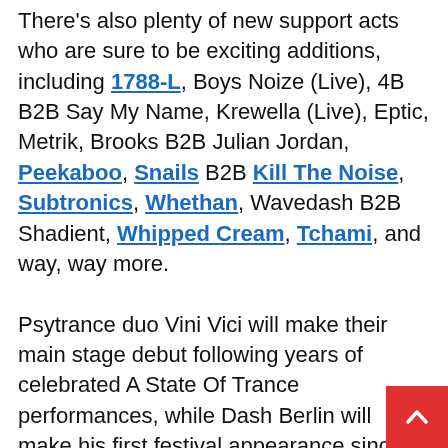There's also plenty of new support acts who are sure to be exciting additions, including 1788-L, Boys Noize (Live), 4B B2B Say My Name, Krewella (Live), Eptic, Metrik, Brooks B2B Julian Jordan, Peekaboo, Snails B2B Kill The Noise, Subtronics, Whethan, Wavedash B2B Shadient, Whipped Cream, Tchami, and way, way more.

Psytrance duo Vini Vici will make their main stage debut following years of celebrated A State Of Trance performances, while Dash Berlin will make his first festival appearance since relaunching the moniker as a solo project last year. Hot on the heels of his Ultra Abu Dhabi debut, Nicky Romero will perform his progressive house magic at Ultra Miami, and after Sander Van Doorn debuted his Purple Haze alias at Ultra in 2017, his dark trance sets to return to the rich experience will...